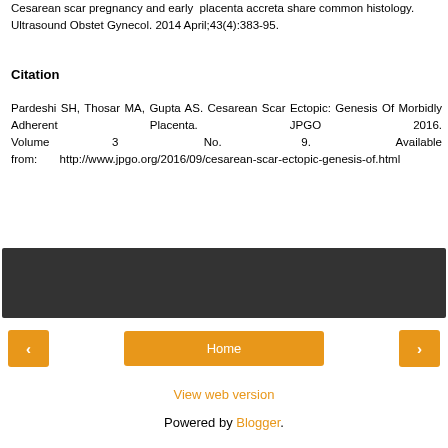Cesarean scar pregnancy and early placenta accreta share common histology. Ultrasound Obstet Gynecol. 2014 April;43(4):383-95.
Citation
Pardeshi SH, Thosar MA, Gupta AS. Cesarean Scar Ectopic: Genesis Of Morbidly Adherent Placenta. JPGO 2016. Volume 3 No. 9. Available from: http://www.jpgo.org/2016/09/cesarean-scar-ectopic-genesis-of.html
[Figure (other): Dark horizontal banner/footer bar]
< Home >
View web version
Powered by Blogger.